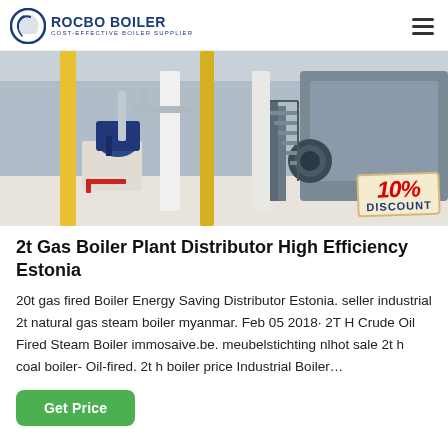ROCBO BOILER — COST-EFFECTIVE BOILER SUPPLIER
[Figure (photo): Industrial boiler plant facility interior showing large industrial boilers, yellow support columns, blue motor/pump equipment, white pillars, metal staircase, and a 10% DISCOUNT badge overlay in the bottom-right corner.]
2t Gas Boiler Plant Distributor High Efficiency Estonia
20t gas fired Boiler Energy Saving Distributor Estonia. seller industrial 2t natural gas steam boiler myanmar. Feb 05 2018· 2T H Crude Oil Fired Steam Boiler immosaive.be. meubelstichting nlhot sale 2t h coal boiler- Oil-fired. 2t h boiler price Industrial Boiler…
Get Price